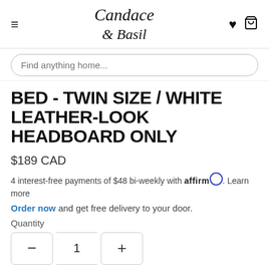Candace & Basil
Find anything home...
BED - TWIN SIZE / WHITE LEATHER-LOOK HEADBOARD ONLY
$189 CAD
4 interest-free payments of $48 bi-weekly with affirm. Learn more
Order now and get free delivery to your door.
Quantity
— 1 +